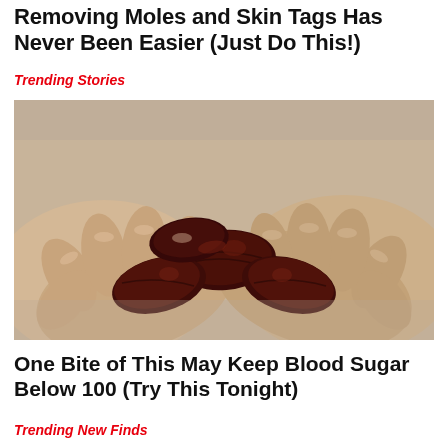Removing Moles and Skin Tags Has Never Been Easier (Just Do This!)
Trending Stories
[Figure (photo): Two hands cupped together holding several large dark brown Medjool dates]
One Bite of This May Keep Blood Sugar Below 100 (Try This Tonight)
Trending New Finds